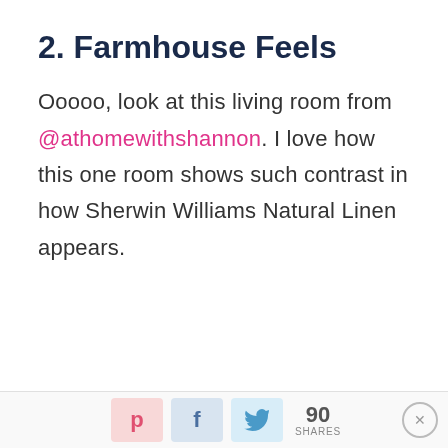2. Farmhouse Feels
Ooooo, look at this living room from @athomewithshannon. I love how this one room shows such contrast in how Sherwin Williams Natural Linen appears.
90 SHARES